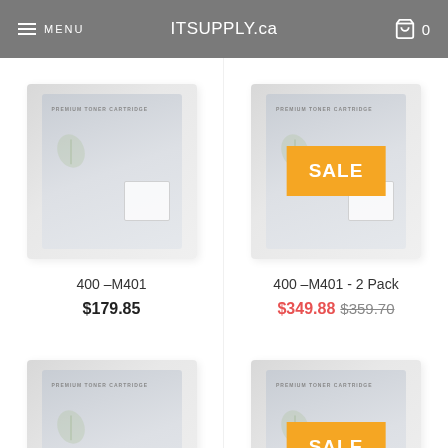MENU  ITSUPPLY.ca  0
400 –M401
$179.85
[Figure (photo): Premium toner cartridge product box, grey/white packaging]
400 –M401 - 2 Pack
$349.88  $359.70
[Figure (photo): Premium toner cartridge product box with SALE badge overlay, grey/white packaging]
4250 4350
$229.92
4250 4350 - 2 Pack
$418.92  $459.84